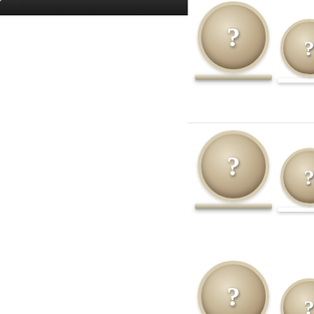[Figure (illustration): Dark banner/header bar at top left of page]
[Figure (illustration): Four rows of tan/beige coin icons with question marks on a right-side panel, each coin sitting on a shelf base. Two coins visible per row (one full, one partially cropped at right edge). Rows separated by thin horizontal divider lines.]